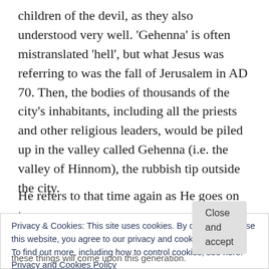children of the devil, as they also understood very well. 'Gehenna' is often mistranslated 'hell', but what Jesus was referring to was the fall of Jerusalem in AD 70. Then, the bodies of thousands of the city's inhabitants, including all the priests and other religious leaders, would be piled up in the valley called Gehenna (i.e. the valley of Hinnom), the rubbish tip outside the city.
He refers to that time again as He goes on to
Privacy & Cookies: This site uses cookies. By continuing to use this website, you agree to our privacy and cookies policy. To find out more, including how to control cookies, see here: Privacy and Cookies Policy
Close and accept
these things will come upon this generation.